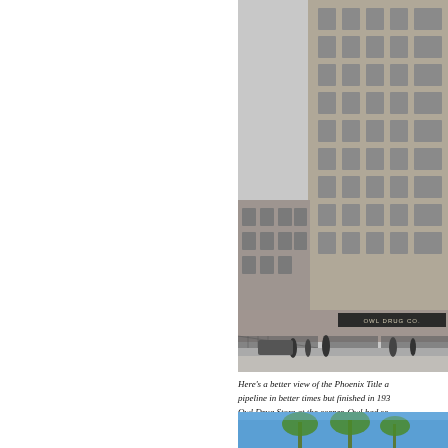[Figure (photo): Black and white historical photograph of the Phoenix Title building, a tall multi-story office building on a city corner, with Owl Drug Co. sign visible at street level, awnings over storefronts, people and vintage cars on the street.]
Here's a better view of the Phoenix Title a pipeline in better times but finished in 193 Owl Drug Store at the corner. Owl had se
[Figure (photo): Partial color photograph showing palm trees against a blue sky, bottom of page.]